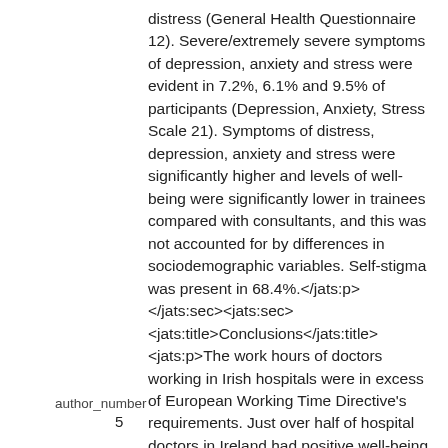distress (General Health Questionnaire 12). Severe/extremely severe symptoms of depression, anxiety and stress were evident in 7.2%, 6.1% and 9.5% of participants (Depression, Anxiety, Stress Scale 21). Symptoms of distress, depression, anxiety and stress were significantly higher and levels of well-being were significantly lower in trainees compared with consultants, and this was not accounted for by differences in sociodemographic variables. Self-stigma was present in 68.4%.</jats:p></jats:sec><jats:sec><jats:title>Conclusions</jats:title><jats:p>The work hours of doctors working in Irish hospitals were in excess of European Working Time Directive's requirements. Just over half of hospital doctors in Ireland had positive well-being. Compared with international e…
author_number
5